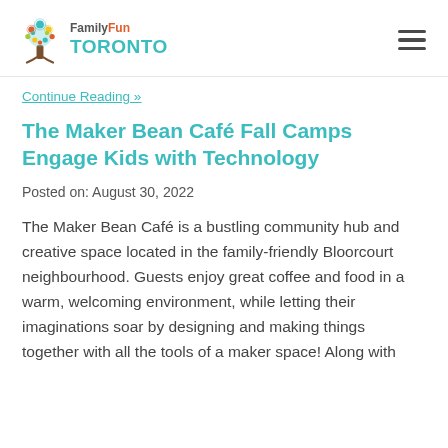FamilyFun TORONTO
Continue Reading »
The Maker Bean Café Fall Camps Engage Kids with Technology
Posted on: August 30, 2022
The Maker Bean Café is a bustling community hub and creative space located in the family-friendly Bloorcourt neighbourhood. Guests enjoy great coffee and food in a warm, welcoming environment, while letting their imaginations soar by designing and making things together with all the tools of a maker space! Along with